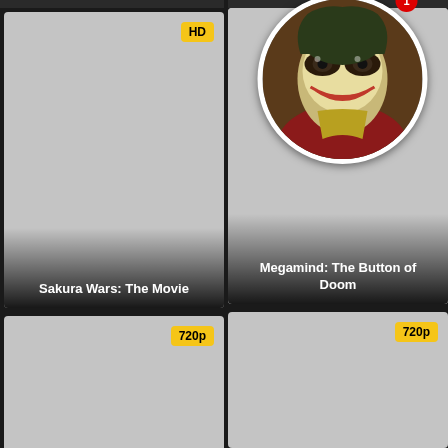[Figure (screenshot): Movie streaming app UI showing a grid of 4 movie cards. Top-left: 'Sakura Wars: The Movie' with HD badge. Top-right: 'Megamind: The Button of Doom' with a circular Joker character avatar and notification badge showing '1'. Bottom-left: card with 720p badge. Bottom-right: card with 720p badge.]